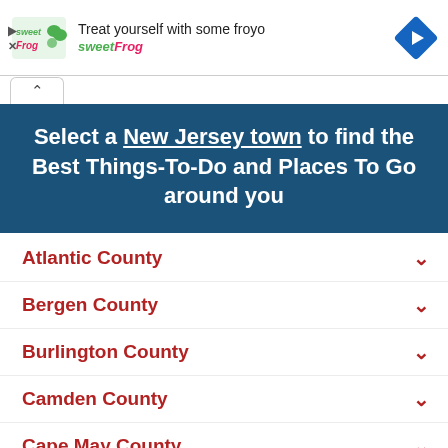[Figure (infographic): sweetFrog advertisement banner with logo, text 'Treat yourself with some froyo sweetFrog', and a blue navigation arrow icon]
Select a New Jersey town to find the Best Things-To-Do and Places To Go around you
Atlantic County
Bergen County
Burlington County
Camden County
Cape May County